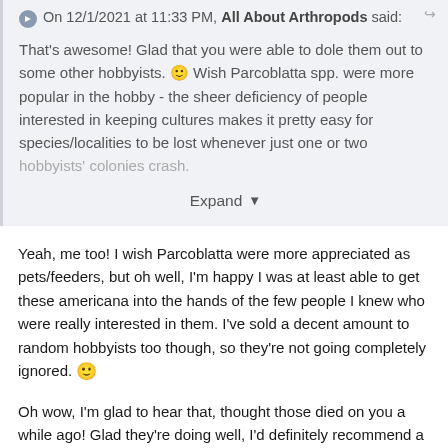On 12/1/2021 at 11:33 PM, All About Arthropods said:
That's awesome! Glad that you were able to dole them out to some other hobbyists. 🙂 Wish Parcoblatta spp. were more popular in the hobby - the sheer deficiency of people interested in keeping cultures makes it pretty easy for species/localities to be lost whenever just one or two hobbyists' colonies crash.
Expand
Yeah, me too! I wish Parcoblatta were more appreciated as pets/feeders, but oh well, I'm happy I was at least able to get these americana into the hands of the few people I knew who were really interested in them. I've sold a decent amount to random hobbyists too though, so they're not going completely ignored. 🙂
Oh wow, I'm glad to hear that, thought those died on you a while ago! Glad they're doing well, I'd definitely recommend a winter